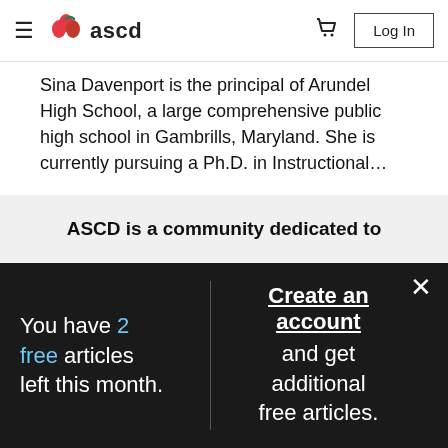ascd - navigation bar with hamburger menu, logo, cart, and Log In button
Sina Davenport is the principal of Arundel High School, a large comprehensive public high school in Gambrills, Maryland. She is currently pursuing a Ph.D. in Instructional…
Learn More →
ASCD is a community dedicated to
You have 2 free articles left this month.
Create an account and get additional free articles.